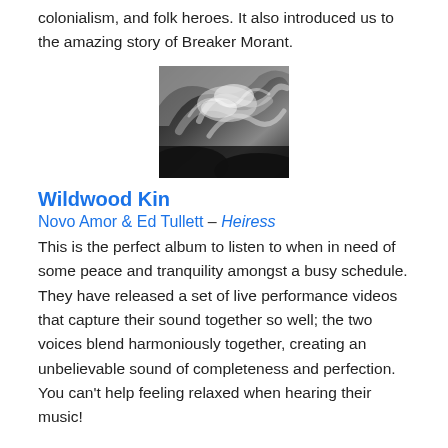colonialism, and folk heroes. It also introduced us to the amazing story of Breaker Morant.
[Figure (photo): Black and white abstract image, possibly smoke or aerial landscape, used as album artwork]
Wildwood Kin
Novo Amor & Ed Tullett – Heiress
This is the perfect album to listen to when in need of some peace and tranquility amongst a busy schedule. They have released a set of live performance videos that capture their sound together so well; the two voices blend harmoniously together, creating an unbelievable sound of completeness and perfection. You can't help feeling relaxed when hearing their music!